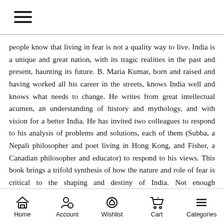[hamburger menu icon]
people know that living in fear is not a quality way to live. India is a unique and great nation, with its tragic realities in the past and present, haunting its future. B. Maria Kumar, born and raised and having worked all his career in the streets, knows India well and knows what needs to change. He writes from great intellectual acumen, an understanding of history and mythology, and with vision for a better India. He has invited two colleagues to respond to his analysis of problems and solutions, each of them (Subba, a Nepali philosopher and poet living in Hong Kong, and Fisher, a Canadian philosopher and educator) to respond to his views. This book brings a trifold synthesis of how the nature and role of fear is critical to the shaping and destiny of India. Not enough development theories or thinking have invoked
Home  Account  Wishlist 0  Cart 0  Categories